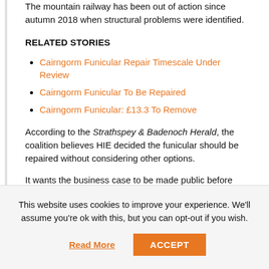The mountain railway has been out of action since autumn 2018 when structural problems were identified.
RELATED STORIES
Cairngorm Funicular Repair Timescale Under Review
Cairngorm Funicular To Be Repaired
Cairngorm Funicular: £13.3 To Remove
According to the Strathspey & Badenoch Herald, the coalition believes HIE decided the funicular should be repaired without considering other options.
It wants the business case to be made public before the Scottish Government decides whether to fund the repairs.
This website uses cookies to improve your experience. We'll assume you're ok with this, but you can opt-out if you wish.